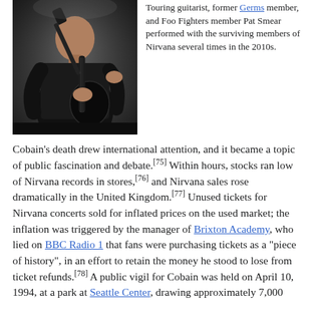[Figure (photo): Person playing electric guitar on stage, wearing black t-shirt, dark background with stage lighting]
Touring guitarist, former Germs member, and Foo Fighters member Pat Smear performed with the surviving members of Nirvana several times in the 2010s.
Cobain's death drew international attention, and it became a topic of public fascination and debate.[75] Within hours, stocks ran low of Nirvana records in stores,[76] and Nirvana sales rose dramatically in the United Kingdom.[77] Unused tickets for Nirvana concerts sold for inflated prices on the used market; the inflation was triggered by the manager of Brixton Academy, who lied on BBC Radio 1 that fans were purchasing tickets as a "piece of history", in an effort to retain the money he stood to lose from ticket refunds.[78] A public vigil for Cobain was held on April 10, 1994, at a park at Seattle Center, drawing approximately 7,000